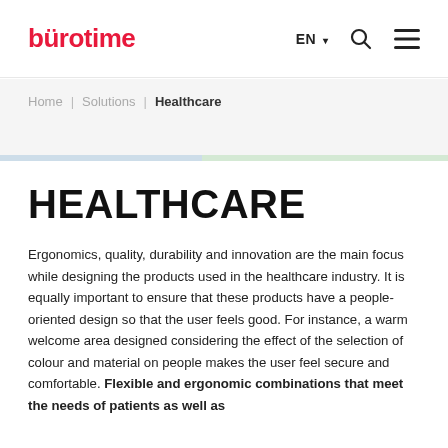bürotime | EN | [search] [menu]
Home | Solutions | Healthcare
HEALTHCARE
Ergonomics, quality, durability and innovation are the main focus while designing the products used in the healthcare industry. It is equally important to ensure that these products have a people-oriented design so that the user feels good. For instance, a warm welcome area designed considering the effect of the selection of colour and material on people makes the user feel secure and comfortable. Flexible and ergonomic combinations that meet the needs of patients as well as